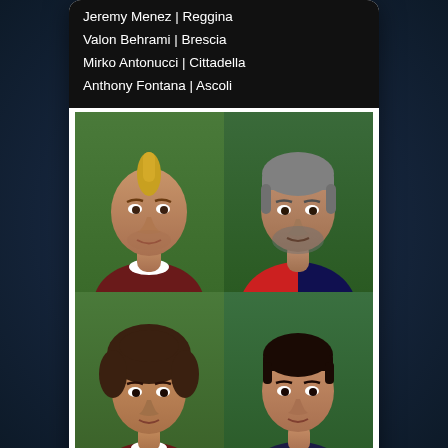Jeremy Menez | Reggina
Valon Behrami | Brescia
Mirko Antonucci | Cittadella
Anthony Fontana | Ascoli
[Figure (photo): 2x2 grid of football player face renders from a video game (PES/FIFA style): top-left player in dark red/maroon jersey with mohawk hairstyle, top-right player in red/blue Genoa-style jersey with short hair and beard, bottom-left player in maroon jersey with brown curly hair, bottom-right player in dark blue jersey with short dark hair]